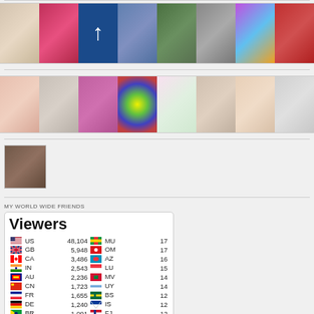[Figure (photo): Strip of profile photos - row 1: woman with white hair, woman with glasses, U-turn logo, colorful face paint, nature scene, older man, psychedelic art, woman in red]
[Figure (photo): Strip of profile photos - row 2: woman with red scarf, woman with camera, woman with pink hair, colorful circular art, yellow flowers, smiling man, blonde woman, furniture/room]
[Figure (photo): Single profile photo - hands holding a ball]
MY WORLD WIDE FRIENDS
| Flag | Country | Count | Flag | Country | Count |
| --- | --- | --- | --- | --- | --- |
| US | 48,104 | MU | 17 |
| GB | 5,948 | OM | 17 |
| CA | 3,486 | AZ | 16 |
| IN | 2,543 | LU | 15 |
| AU | 2,236 | MV | 14 |
| CN | 1,723 | UY | 14 |
| FR | 1,655 | BS | 12 |
| DE | 1,240 | IS | 12 |
| BR | 1,091 | FJ | 12 |
| PH | 1,005 | KH | 11 |